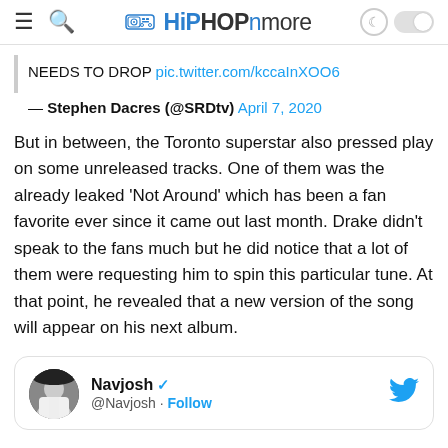HiPHOPnmore
NEEDS TO DROP pic.twitter.com/kccaInXOO6
— Stephen Dacres (@SRDtv) April 7, 2020
But in between, the Toronto superstar also pressed play on some unreleased tracks. One of them was the already leaked 'Not Around' which has been a fan favorite ever since it came out last month. Drake didn't speak to the fans much but he did notice that a lot of them were requesting him to spin this particular tune. At that point, he revealed that a new version of the song will appear on his next album.
[Figure (screenshot): Embedded tweet card from Navjosh (@Navjosh) with Follow button and Twitter bird icon]